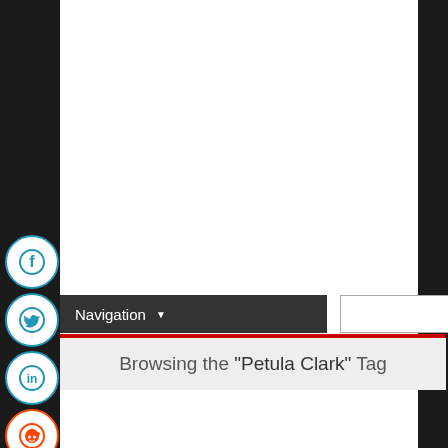[Figure (screenshot): Social media share buttons on left sidebar: Facebook (blue circle with f), Twitter (blue circle with bird), LinkedIn (blue circle with in), Reddit (orange circle with alien), Email (grey circle with envelope)]
[Figure (screenshot): Navigation bar with 'Navigation' text and dropdown arrow, plus a search input box with magnifying glass icon]
Browsing the "Petula Clark" Tag